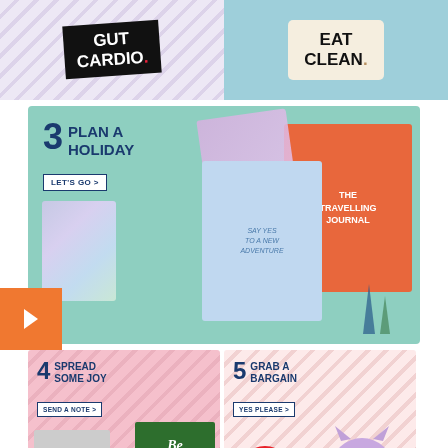[Figure (photo): Top section showing two products: a black card with 'CARDIO.' text on diagonal striped background, and a container with 'EAT CLEAN.' text on teal background]
[Figure (infographic): Section 3: Plan a Holiday - mint green background with travel journals including 'The Travelling Journal' in orange, holographic cards, and spiral notebook. Button 'LET'S GO >']
[Figure (infographic): Section 4: Spread Some Joy - pink diagonal stripe background with greeting cards 'YOU GOT THIS' and 'Be Wild & Free'. Button 'SEND A NOTE >']
[Figure (infographic): Section 5: Grab a Bargain - pink diagonal stripe background with iridescent owl figurine and red circle badge '70% OFF'. Button 'YES PLEASE >']
YOU'LL NEED SOMETHING TO WRITE THAT DOWN...
SHOP PENS
[Figure (photo): Red and gold ballpoint pen at bottom of page]